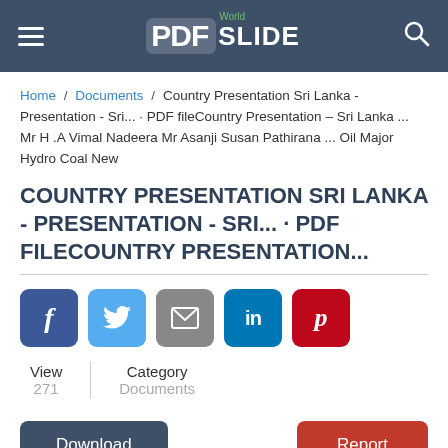World PDF SLIDE
Home / Documents / Country Presentation Sri Lanka - Presentation - Sri... · PDF fileCountry Presentation – Sri Lanka ... Mr H .A Vimal Nadeera Mr Asanji Susan Pathirana ... Oil Major Hydro Coal New
COUNTRY PRESENTATION SRI LANKA - PRESENTATION - SRI... · PDF FILECOUNTRY PRESENTATION...
[Figure (infographic): Social share buttons: Facebook (f), Twitter (t), Email (envelope), LinkedIn (in), Pinterest (p)]
| View | Category |
| --- | --- |
| 271 | Documents |
Download   Report